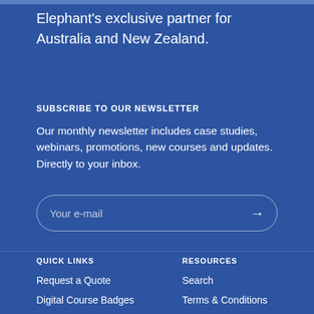Elephant's exclusive partner for Australia and New Zealand.
SUBSCRIBE TO OUR NEWSLETTER
Our monthly newsletter includes case studies, webinars, promotions, new courses and updates. Directly to your inbox.
Your e-mail
QUICK LINKS
RESOURCES
Request a Quote
Search
Digital Course Badges
Terms & Conditions
Blog
Privacy Policy